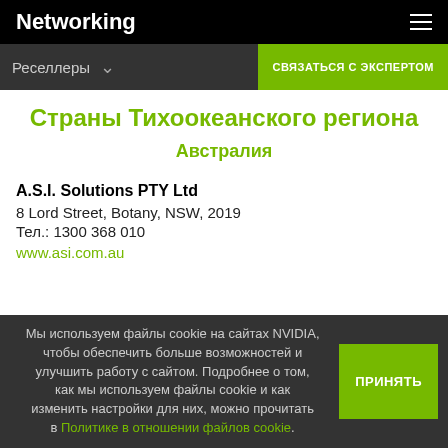Networking
Реселлеры  СВЯЗАТЬСЯ С ЭКСПЕРТОМ
Страны Тихоокеанского региона
Австралия
A.S.I. Solutions PTY Ltd
8 Lord Street, Botany, NSW, 2019
Тел.: 1300 368 010
www.asi.com.au
Мы используем файлы cookie на сайтах NVIDIA, чтобы обеспечить больше возможностей и улучшить работу с сайтом. Подробнее о том, как мы используем файлы cookie и как изменить настройки для них, можно прочитать в Политике в отношении файлов cookie.